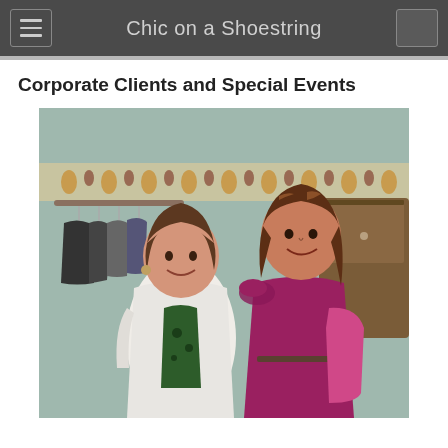Chic on a Shoestring
Corporate Clients and Special Events
[Figure (photo): Two women smiling and posing together indoors. The shorter woman on the left has short brown hair and is wearing a white top with a green floral top underneath. The taller woman on the right has shoulder-length brown hair with highlights and is wearing a magenta/fuchsia dress with ruched shoulder detail and a thin belt, and carrying a pink bag. Behind them is a decorative wallpaper border and a rack of clothing on hangers.]